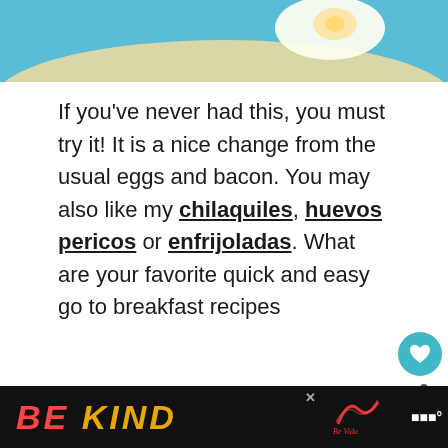[Figure (photo): Top portion of a food photo showing a tortilla with egg on a blue plate/surface, cropped at top of page]
If you've never had this, you must try it! It is a nice change from the usual eggs and bacon. You may also like my chilaquiles, huevos pericos or enfrijoladas. What are your favorite quick and easy go to breakfast recipes
[Figure (photo): Thumbnail of food dish (appears to be enchiladas or similar Mexican food with red sauce and herbs) shown in the bottom section next to a 'What's Next' card for Chiles Rellenos]
WHAT'S NEXT → Chiles Rellenos...
[Figure (photo): Advertisement banner at bottom reading 'BE KIND' with decorative script logo, on dark background with close button]